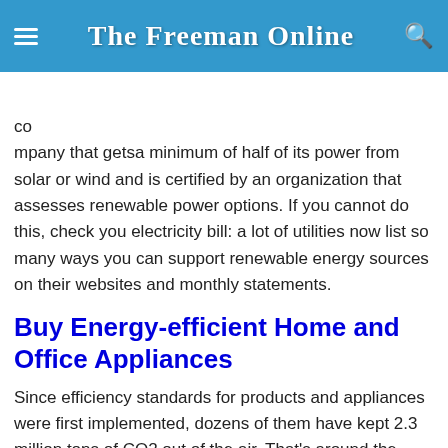The Freeman Online
[Figure (photo): Partial image strip visible at top of content area]
co
mpany that getsa minimum of half of its power from solar or wind and is certified by an organization that assesses renewable power options. If you cannot do this, check you electricity bill: a lot of utilities now list so many ways you can support renewable energy sources on their websites and monthly statements.
Buy Energy-efficient Home and Office Appliances
Since efficiency standards for products and appliances were first implemented, dozens of them have kept 2.3 million tons of CO2 out of the air. That's around the same amount as the yearly carbon pollution that is caused by almost 440